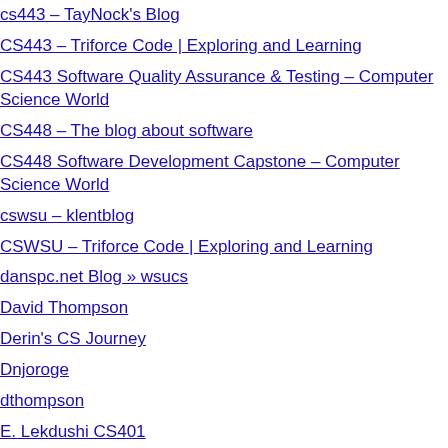cs443 – TayNock's Blog
CS443 – Triforce Code | Exploring and Learning
CS443 Software Quality Assurance & Testing – Computer Science World
CS448 – The blog about software
CS448 Software Development Capstone – Computer Science World
cswsu – klentblog
CSWSU – Triforce Code | Exploring and Learning
danspc.net Blog » wsucs
David Thompson
Derin's CS Journey
Dnjoroge
dthompson
E. Lekdushi CS401
Five mvs of Doom
format c: /s
halfastepoff
haorusong